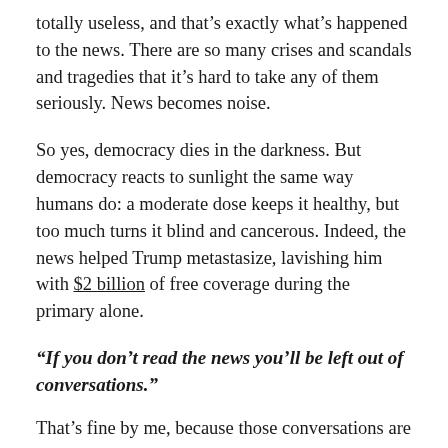totally useless, and that's exactly what's happened to the news. There are so many crises and scandals and tragedies that it's hard to take any of them seriously. News becomes noise.
So yes, democracy dies in the darkness. But democracy reacts to sunlight the same way humans do: a moderate dose keeps it healthy, but too much turns it blind and cancerous. Indeed, the news helped Trump metastasize, lavishing him with $2 billion of free coverage during the primary alone.
“If you don’t read the news you’ll be left out of conversations.”
That’s fine by me, because those conversations are usually like: